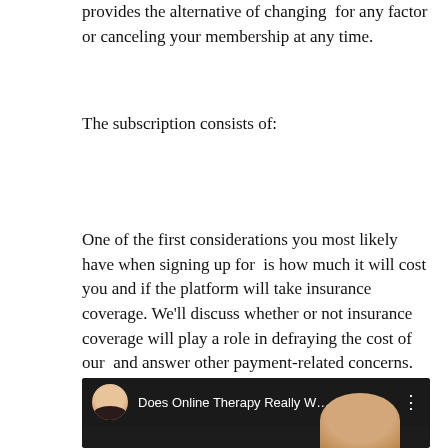provides the alternative of changing  for any factor or canceling your membership at any time.
The subscription consists of:
One of the first considerations you most likely have when signing up for  is how much it will cost you and if the platform will take insurance coverage. We'll discuss whether or not insurance coverage will play a role in defraying the cost of our  and answer other payment-related concerns.
[Figure (screenshot): Video thumbnail showing a YouTube-style video player bar with a circular avatar of a blonde woman, the title 'Does Online Therapy Really W...' and a three-dot menu icon, with a dark video preview below.]